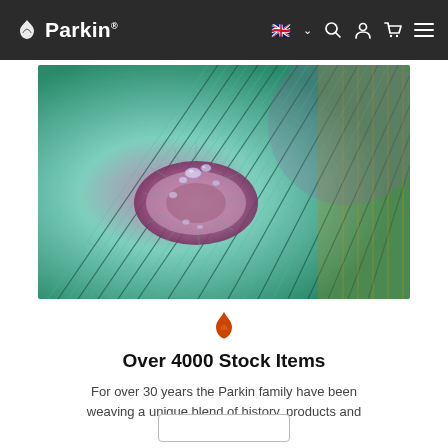Parkin. — navigation bar with logo, UK flag language selector, search, account, cart, menu icons
[Figure (photo): Close-up macro photograph of a peacock feather with iridescent teal, green, and gold colors, with water droplets on the eye of the feather.]
[Figure (logo): Parkin brand flame/leaf logo mark in orange/red color]
Over 4000 Stock Items
For over 30 years the Parkin family have been weaving a unique blend of history, products and expertise.